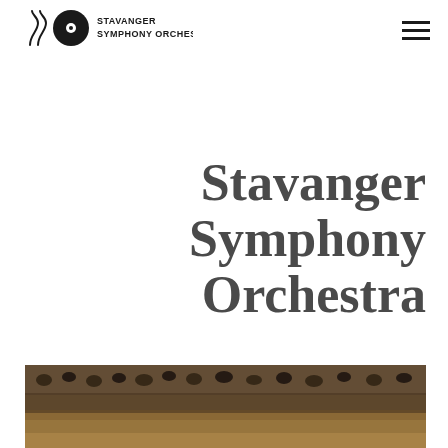STAVANGER SYMPHONY ORCHESTRA
Stavanger Symphony Orchestra
[Figure (photo): Orchestra concert hall with audience, warm amber/brown tones, crowd visible in background]